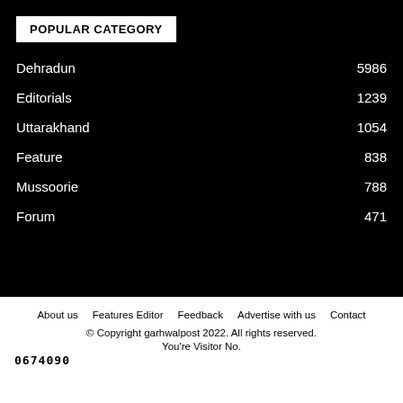POPULAR CATEGORY
Dehradun  5986
Editorials  1239
Uttarakhand  1054
Feature  838
Mussoorie  788
Forum  471
About us  Features Editor  Feedback  Advertise with us  Contact
© Copyright garhwalpost 2022. All rights reserved.
You're Visitor No.
0674090